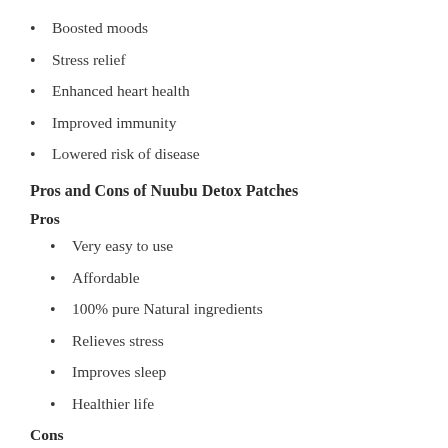Boosted moods
Stress relief
Enhanced heart health
Improved immunity
Lowered risk of disease
Pros and Cons of Nuubu Detox Patches
Pros
Very easy to use
Affordable
100% pure Natural ingredients
Relieves stress
Improves sleep
Healthier life
Cons